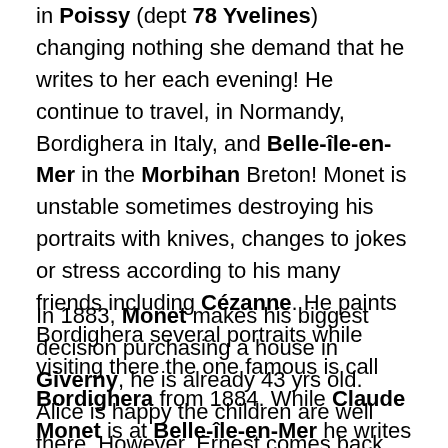in Poissy (dept 78 Yvelines) changing nothing she demand that he writes to her each evening! He continue to travel, in Normandy, Bordighera in Italy, and Belle-île-en-Mer in the Morbihan Breton! Monet is unstable sometimes destroying his portraits with knives, changes to jokes or stress according to his many friends including Cézanne. He paints Bordighera several portraits while visiting there the one famous is call Bordighera from 1884. While Claude Monet is at Belle-île-en-Mer he writes 65 letters to Alice and paints 30 portraits until their marriage. The letters were burned by Claude Monet on the wish of Alice at her death.
In 1883, Monet makes his biggest decision purchasing a house in Giverny, he is already 43 yrs old. Alice is happy the children are well there. However, Ernest comes back from Paris and has a party with Alice to celebrate the